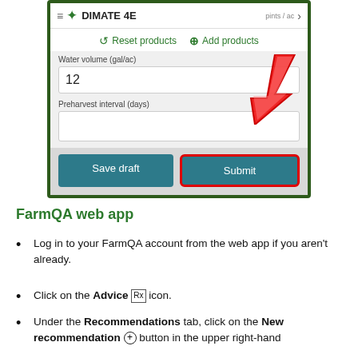[Figure (screenshot): Mobile app screenshot showing DIMATE 4E product form with Reset products and Add products buttons, Water volume field (value: 12), Preharvest interval field (empty), Save draft and Submit buttons. A red arrow points to the Submit button which is highlighted with a red border.]
FarmQA web app
Log in to your FarmQA account from the web app if you aren't already.
Click on the Advice [Rx] icon.
Under the Recommendations tab, click on the New recommendation [+] button in the upper right-hand